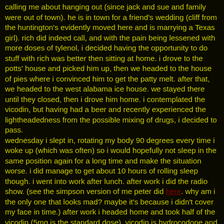calling me about hanging out (since jack and sue and family were out of town). he is in town for a friend's wedding (cliff from the huntington's evidently moved here and is marrying a Texas girl). rich did indeed call, and with the pain being lessened with more doses of tylenol, i decided having the opportunity to do stuff with rich was better then sitting at home. i drove to the potts' house and picked him up, then we headed to the house of pies where i convinced him to get the patty melt. after that, we headed to the west alabama ice house. we stayed there until they closed, then i drove him home. i contemplated the vicodin, but having had a beer and recently experienced the lightheadedness from the possible mixing of drugs, i decided to pass.
wednesday i slept in, rotating my body 90 degrees every time i woke up (which was often) so i would hopefully not sleep in the same position again for a long time and make the situation worse. i did manage to get about 10 hours of rolling sleep though. i went into work after lunch. after work i did the radio show. (see the simpson version of me peter did here. why am i the only one that looks mad? maybe it's because i didn't cover my face in time.) after work i headed home and took half of the vicodin (5mg is the standard dose). vicodin is hydrocodone and acetaminophen. it made me feel lightheaded like the quick-release tylenol (or the tylenol/advil cocktail), but it did absolutely nothing for the pain. vicodin did nothing for the pain when i had my wisdom teeth pulled either though, so maybe my body ain't hip to the vicodin trip. however, when i went to bed about two hours after taking it, i did have some interesting neon lightshows with my eyes closed, then heard a few things i know weren't real. not sure if that ties to being